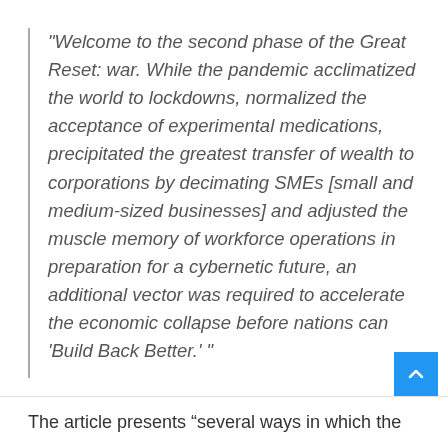“Welcome to the second phase of the Great Reset: war. While the pandemic acclimatized the world to lockdowns, normalized the acceptance of experimental medications, precipitated the greatest transfer of wealth to corporations by decimating SMEs [small and medium-sized businesses] and adjusted the muscle memory of workforce operations in preparation for a cybernetic future, an additional vector was required to accelerate the economic collapse before nations can ‘Build Back Better.’ ”
The article presents “several ways in which the